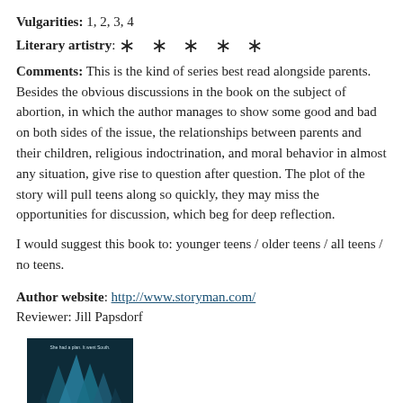Vulgarities:  1, 2, 3, 4
Literary artistry:  ★ ★ ★ ★ ★
Comments:  This is the kind of series best read alongside parents.  Besides the obvious discussions in the book on the subject of abortion, in which the author manages to show some good and bad on both sides of the issue, the relationships between parents and their children, religious indoctrination, and moral behavior in almost any situation, give rise to question after question. The plot of the story will pull teens along so quickly, they may miss the opportunities for discussion, which beg for deep reflection.
I would suggest this book to:  younger teens  /  older teens  /  all teens  /  no teens.
Author website:  http://www.storyman.com/
Reviewer:  Jill Papsdorf
[Figure (photo): Book cover image showing mountains/icebergs in dark teal tones with text 'She had a plan. It went South.']